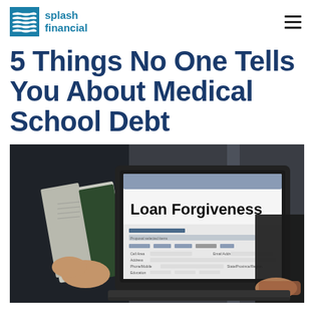splash financial
5 Things No One Tells You About Medical School Debt
[Figure (photo): Photo of a laptop screen displaying a 'Loan Forgiveness' form on screen, with a person in background reading a book and another person's hands visible typing at the laptop in the foreground]